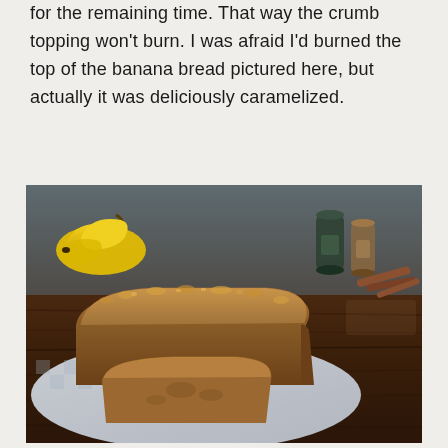for the remaining time. That way the crumb topping won't burn. I was afraid I'd burned the top of the banana bread pictured here, but actually it was deliciously caramelized.
[Figure (photo): A loaf of banana bread with crumb topping on a checkered cloth, with a slice cut in front. Yellow bananas, spice grinders, and cinnamon sticks visible in the background on a dark wooden table.]